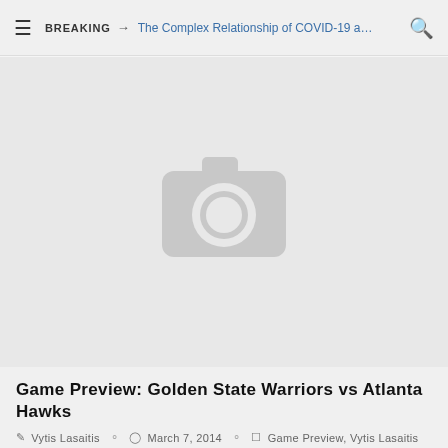BREAKING → The Complex Relationship of COVID-19 a…
[Figure (photo): Gray image placeholder with camera icon indicating a missing or unloaded image]
Game Preview: Golden State Warriors vs Atlanta Hawks
Vytis Lasaitis   March 7, 2014   Game Preview, Vytis Lasaitis